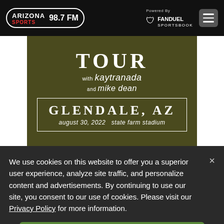Arizona Sports 98.7 FM | Powered By FanDuel Sportsbook
[Figure (illustration): Event poster for a concert TOUR with KAYTRANADA and mike dean, GLENDALE, AZ, august 30, 2022, state farm stadium. Dark olive/army green background with white text. Location shown in a white-bordered box.]
We use cookies on this website to offer you a superior user experience, analyze site traffic, and personalize content and advertisements. By continuing to use our site, you consent to our use of cookies. Please visit our Privacy Policy for more information.
Accept Cookies